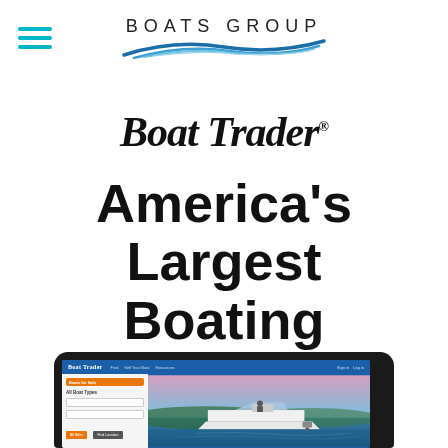[Figure (logo): Boats Group logo with hamburger menu icon on the left, 'BOATS GROUP' text and blue swoosh graphic centered at top]
[Figure (logo): Boat Trader logotype in bold serif font]
America’s Largest Boating Marketplace.
[Figure (screenshot): Laptop/tablet screen showing the Boat Trader website with navigation bar, search sidebar, and a photo of a boat on water]